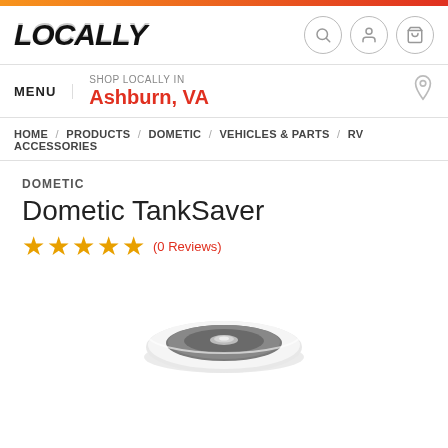LOCALLY
MENU | SHOP LOCALLY IN Ashburn, VA
HOME / PRODUCTS / DOMETIC / VEHICLES & PARTS / RV ACCESSORIES
DOMETIC
Dometic TankSaver
★★★★★ (0 Reviews)
[Figure (photo): Circular product image of the Dometic TankSaver device, viewed from above, appearing as a round disc with a metallic center.]